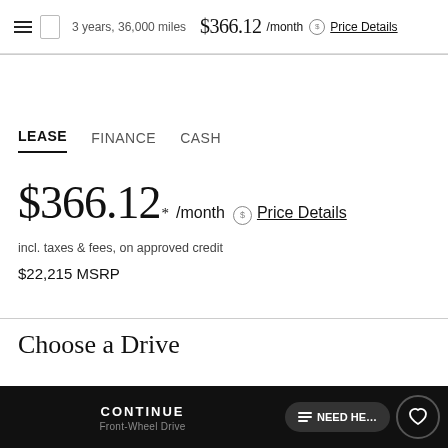3 years, 36,000 miles  $366.12 /month  Price Details
LEASE   FINANCE   CASH
$366.12* /month  Price Details
incl. taxes & fees, on approved credit
$22,215 MSRP
Choose a Drive
CONTINUE   NEED HELP   Front-Wheel Drive